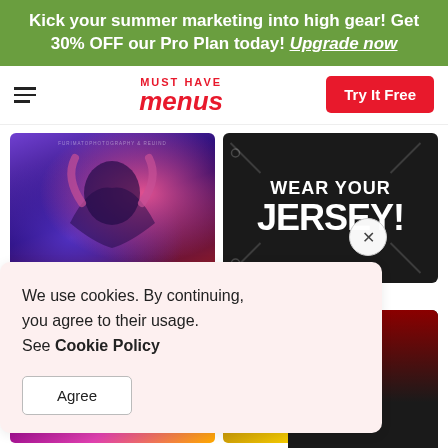Kick your summer marketing into high gear! Get 30% OFF our Pro Plan today! Upgrade now
[Figure (screenshot): Must Have Menus website header with hamburger menu, logo, and Try It Free button]
[Figure (photo): Photo of woman with neon purple and red lighting, arms raised]
[Figure (illustration): Dark background promotional graphic with text WEAR YOUR JERSEY!]
We use cookies. By continuing, you agree to their usage. See Cookie Policy
Agree
[Figure (infographic): Partially visible promotional graphic showing OFF, COMBO, 16, PRO with dark and red background]
biscount
[Figure (illustration): Bottom thumbnail - purple/pink gradient]
[Figure (illustration): Bottom thumbnail - gold/yellow gradient]